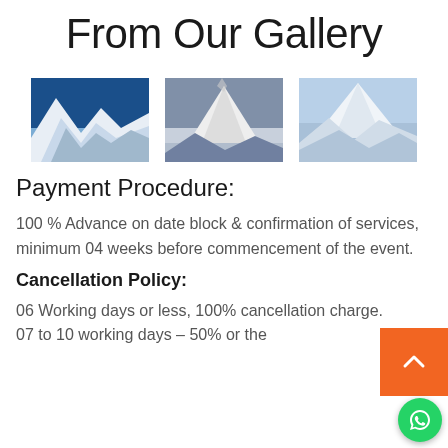From Our Gallery
[Figure (photo): Three thumbnail photos of snow-capped mountain peaks]
Payment Procedure:
100 % Advance on date block & confirmation of services, minimum 04 weeks before commencement of the event.
Cancellation Policy:
06 Working days or less, 100% cancellation charge.
07 to 10 working days – 50% or the